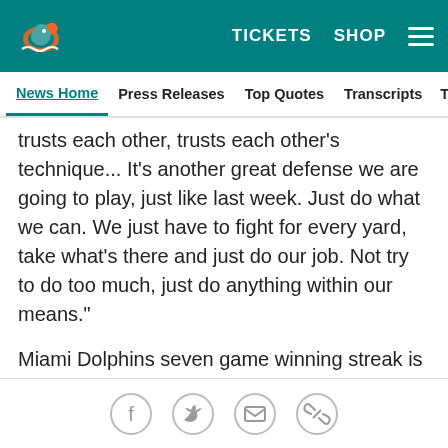[Figure (logo): Miami Dolphins logo and navigation bar with TICKETS, SHOP, and hamburger menu on teal background]
News Home | Press Releases | Top Quotes | Transcripts | Training
trusts each other, trusts each other's technique... It's another great defense we are going to play, just like last week. Just do what we can. We just have to fight for every yard, take what's there and just do our job. Not try to do too much, just do anything within our means."
Miami Dolphins seven game winning streak is the team's longest since Nov. 10 to Dec. 22, 1985. The Dolphins have won their last two meetings with Tennessee and are 21-17 all-time in the series, including one playoff meeting.
Jaylen Waddle's 96 receptions are the third most in a
[Figure (infographic): Social share icons: Facebook, Twitter, Email, Link]